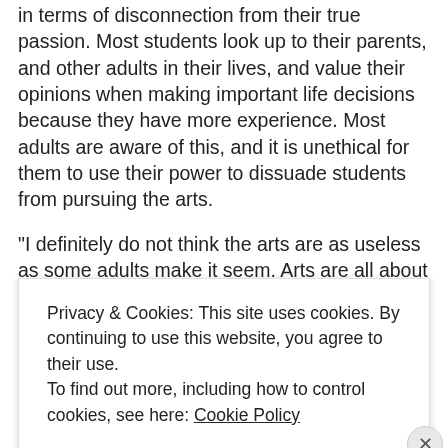in terms of disconnection from their true passion. Most students look up to their parents, and other adults in their lives, and value their opinions when making important life decisions because they have more experience. Most adults are aware of this, and it is unethical for them to use their power to dissuade students from pursuing the arts.
“I definitely do not think the arts are as useless as some adults make it seem. Arts are all about self expression and the discovery of one’s self. Especially in theatre, I
Privacy & Cookies: This site uses cookies. By continuing to use this website, you agree to their use.
To find out more, including how to control cookies, see here: Cookie Policy
CLOSE AND ACCEPT